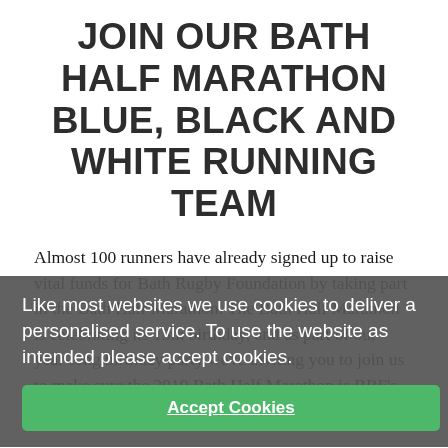JOIN OUR BATH HALF MARATHON BLUE, BLACK AND WHITE RUNNING TEAM
Almost 100 runners have already signed up to raise vital funds for Bath Rugby Foundation by taking part in the Bath Half Marathon. The Bath Half Marathon is celebrating its 15th birthday, and as part of our year-long birthday party we're inviting you to join us to make sure the 2019 Bath Half Marathon is BRF's biggest and best yet!
Like most websites we use cookies to deliver a personalised service. To use the website as intended please accept cookies.